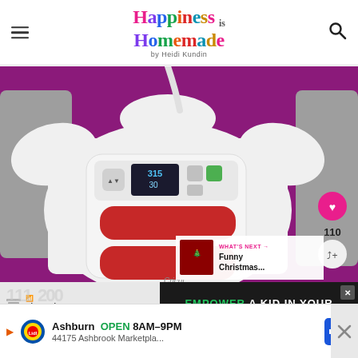[Figure (logo): Happiness is Homemade by Heidi Kundin colorful logo with hamburger menu and search icon]
[Figure (photo): Cricut EasyPress heat press machine in white and red sitting on a white t-shirt on a purple ironing mat, viewed from above. Digital display shows 315 and 30. A heart/share button overlay is visible on the right side showing 110 likes.]
[Figure (photo): What's Next thumbnail showing Funny Christmas... article with red Christmas-themed image]
[Figure (screenshot): Bottom advertisement banner: Lidl store ad showing Ashburn OPEN 8AM-9PM, 44175 Ashbrook Marketpla... with navigation icon]
[Figure (screenshot): Mid-page ad banner: Big Brothers logo on left, dark banner on right reading EMPOWER A KID IN YOUR with close X button]